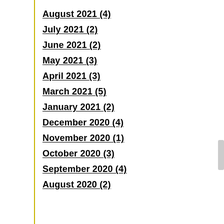August 2021 (4)
July 2021 (2)
June 2021 (2)
May 2021 (3)
April 2021 (3)
March 2021 (5)
January 2021 (2)
December 2020 (4)
November 2020 (1)
October 2020 (3)
September 2020 (4)
August 2020 (2)